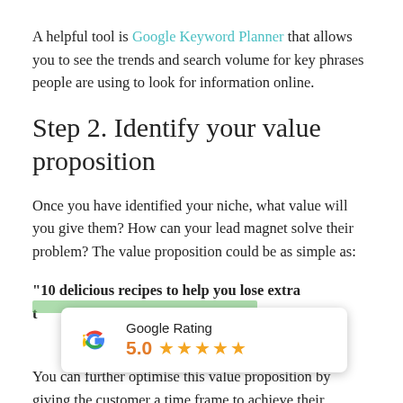A helpful tool is Google Keyword Planner that allows you to see the trends and search volume for key phrases people are using to look for information online.
Step 2. Identify your value proposition
Once you have identified your niche, what value will you give them? How can your lead magnet solve their problem? The value proposition could be as simple as:
“10 delicious recipes to help you lose extra t
[Figure (screenshot): Google Rating popup showing 5.0 stars with orange star icons and Google G logo]
You can further optimise this value proposition by giving the customer a time frame to achieve their